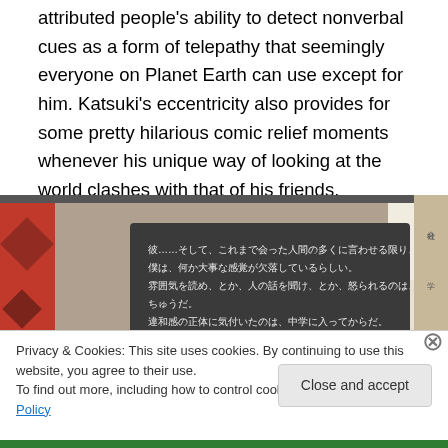attributed people's ability to detect nonverbal cues as a form of telepathy that seemingly everyone on Planet Earth can use except for him. Katsuki's eccentricity also provides for some pretty hilarious comic relief moments whenever his unique way of looking at the world clashes with that of his friends.
[Figure (screenshot): Screenshot of a Japanese visual novel game showing a dark grey text box with Japanese text over a decorative background with marble-like and red patterned elements.]
Privacy & Cookies: This site uses cookies. By continuing to use this website, you agree to their use. To find out more, including how to control cookies, see here: Cookie Policy